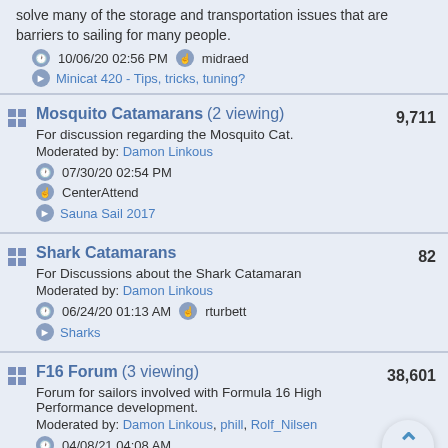solve many of the storage and transportation issues that are barriers to sailing for many people.
10/06/20 02:56 PM  midraed
Minicat 420 - Tips, tricks, tuning?
Mosquito Catamarans (2 viewing)
9,711
For discussion regarding the Mosquito Cat.
Moderated by: Damon Linkous
07/30/20 02:54 PM
CenterAttend
Sauna Sail 2017
Shark Catamarans
82
For Discussions about the Shark Catamaran
Moderated by: Damon Linkous
06/24/20 01:13 AM  rturbett
Sharks
F16 Forum (3 viewing)
38,601
Forum for sailors involved with Formula 16 High Performance development.
Moderated by: Damon Linkous, phill, Rolf_Nilsen
04/08/21 04:08 AM
Kc2canada